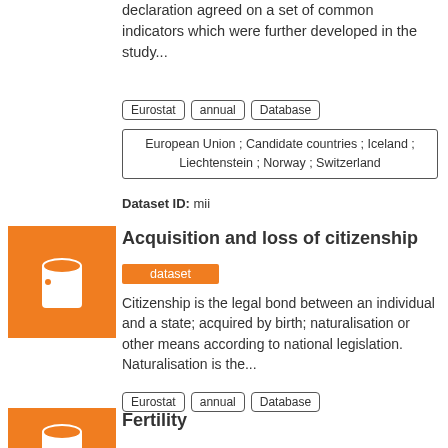declaration agreed on a set of common indicators which were further developed in the study...
Eurostat | annual | Database
European Union ; Candidate countries ; Iceland ; Liechtenstein ; Norway ; Switzerland
Dataset ID: mii
[Figure (illustration): Orange square icon with white cylinder/database symbol]
Acquisition and loss of citizenship
dataset
Citizenship is the legal bond between an individual and a state; acquired by birth; naturalisation or other means according to national legislation. Naturalisation is the...
Eurostat | annual | Database
European Union ; Candidate countries ; Iceland ; Liechtenstein ; Norway ; Switzerland
Dataset ID: migr_acqn
[Figure (illustration): Orange square icon with white cylinder/database symbol (partial)]
Fertility